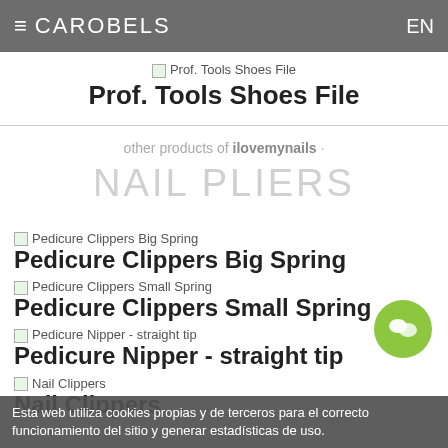≡ CAROBELS  EN
[Figure (screenshot): Product image placeholder for Prof. Tools Shoes File]
Prof. Tools Shoes File
other products of ilovemynails ·
NAIL PLIERS
[Figure (screenshot): Product image placeholder for Pedicure Clippers Big Spring]
Pedicure Clippers Big Spring
[Figure (screenshot): Product image placeholder for Pedicure Clippers Small Spring]
Pedicure Clippers Small Spring
[Figure (screenshot): Product image placeholder for Pedicure Nipper - straight tip]
Pedicure Nipper - straight tip
[Figure (screenshot): Product image placeholder for Nail Clippers]
Nail Clippers
Esta web utiliza cookies propias y de terceros para el correcto funcionamiento del sitio y generar estadísticas de uso.